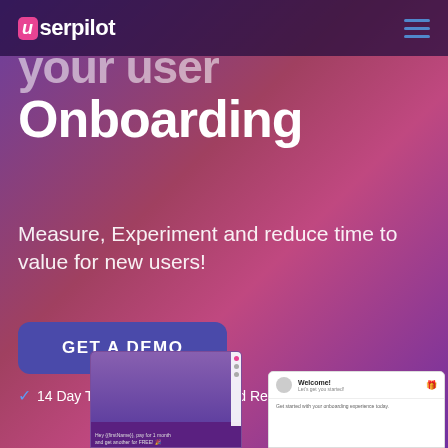userpilot
your user Onboarding
Measure, Experiment and reduce time to value for new users!
GET A DEMO
14 Day Trial
No Credit Card Required
[Figure (screenshot): Screenshot of Userpilot app showing two people at a computer and a welcome onboarding modal overlay]